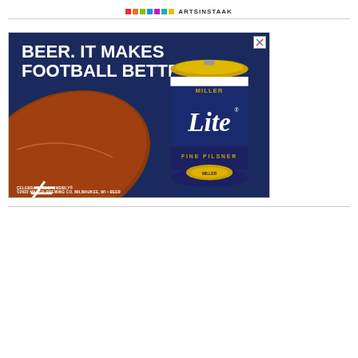ARTSINSTAAK
[Figure (photo): Miller Lite beer advertisement showing a beer can next to a football on a dark navy background with text 'BEER. IT MAKES FOOTBALL BETTER.' and footer text 'CELEBRATE RESPONSIBLY® ©2022 MILLER BREWING CO. MILWAUKEE, WI • BEER']